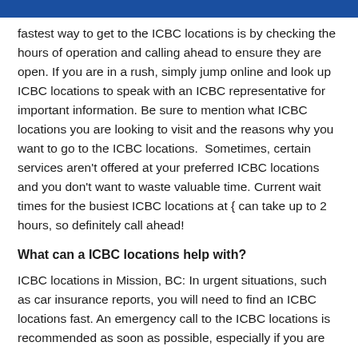fastest way to get to the ICBC locations is by checking the hours of operation and calling ahead to ensure they are open. If you are in a rush, simply jump online and look up ICBC locations to speak with an ICBC representative for important information. Be sure to mention what ICBC locations you are looking to visit and the reasons why you want to go to the ICBC locations.  Sometimes, certain services aren't offered at your preferred ICBC locations and you don't want to waste valuable time. Current wait times for the busiest ICBC locations at { can take up to 2 hours, so definitely call ahead!
What can a ICBC locations help with?
ICBC locations in Mission, BC: In urgent situations, such as car insurance reports, you will need to find an ICBC locations fast. An emergency call to the ICBC locations is recommended as soon as possible, especially if you are